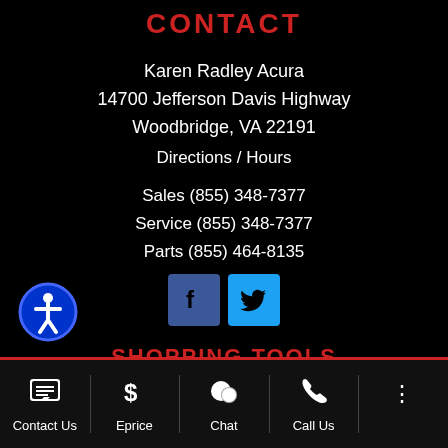CONTACT
Karen Radley Acura
14700 Jefferson Davis Highway
Woodbridge, VA 22191
Directions / Hours
Sales (855) 348-7377
Service (855) 348-7377
Parts (855) 464-8135
[Figure (illustration): Facebook and Twitter social media icons]
SHOPPING TOOLS
[Figure (illustration): Accessibility icon button (blue circle with white person figure)]
Contact Us | Eprice | Chat | Call Us | More